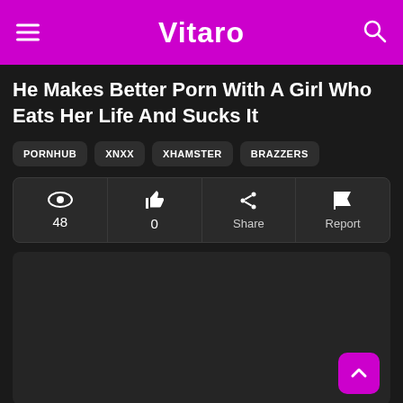Vitaro
He Makes Better Porn With A Girl Who Eats Her Life And Sucks It
PORNHUB
XNXX
XHAMSTER
BRAZZERS
[Figure (screenshot): Action bar with view count 48, like count 0, Share button, and Report button]
[Figure (screenshot): Dark video/content placeholder area]